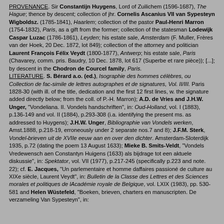PROVENANCE. Sir Constantijn Huygens, Lord of Zuilichem (1596-1687), The Hague; thence by descent; collection of jhr. Cornelis Ascanius VII van Sypesteyn Wigboldsz. (1785-1841), Haarlem; collection of the pastor Paul-Henri Marron (1754-1832), Paris, as a gift from the former; collection of the statesman Lodewijk Caspar Luzac (1786-1861), Leyden; his estate sale, Amsterdam (F. Muller, Frères van der Hoek, 20 Dec. 1872, lot 849); collection of the attorney and politician Laurent François Félix Veydt (1800-1877), Antwerp; his estate sale, Paris (Chavarey, comm. pris. Baudry, 10 Dec. 1878, lot 617 (Superbe et rare pièce)); [...]; by descent in the Chodron de Courcel family, Paris. LITERATURE. S. Bérard a.o. (ed.), Isographie des hommes célèbres, ou Collection de fac-simile de lettres autographes et de signatures, Vol. II/III. Paris 1828-30 (with ill. of the title, dedication and the first 12 first lines, w. the signature added directly below; from the coll. of P.-H. Marron); A.D. de Vries and J.H.W. Unger, "Vondeliana. II. Vondels handschriften", in: Oud-Holland, vol. I (1883), p.136-149 and vol. II (1884), p.293-308 (i.a. identifying the present ms. as addressed to Huygens); J.H.W. Unger, Bibliographie van Vondels werken, Amst.1888, p.218-19, erroneously under 2 separate nos.7 and 8); J.F.M. Sterk, Vondel-brieven uit de XVIIe eeuw aan en over den dichter. Amsterdam-Sloterdijk 1935, p.72 (dating the poem 13 August 1633); Mieke B. Smits-Veldt, "Vondels Vredewensch aen Constantyn Huigens (1633) als bijdrage tot een aktuele diskussie", in: Spektator, vol. VII (1977), p.217-245 (specifically p.223 and note. 22); cf. E. Jacques, "Un parlementaire et homme daffaires passioné de culture au XIXe siècle, Laurent Veydt", in: Bulletin de la Classe des Lettres et des Sciences morales et politiques de lAcadémie royale de Belgique, vol. LXIX (1983), pp. 530-581 and Helen Wüstefeld, "Boeken, brieven, charters en manuscripten. De verzameling Van Sypesteyn", in: